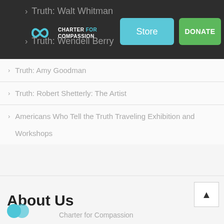[Figure (logo): Charter for Compassion infinity logo with text in dark header bar]
Truth: Walt Whitman
Truth: Wendell Berry
Truth: Amy Goodman
Truth: Robert Shetterly: The Artist
Americans Who Tell the Truth Traveling Exhibition and Workshops
About Us
Charter for Compassion